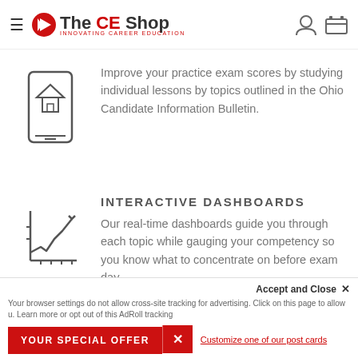[Figure (logo): The CE Shop logo with red arrow icon and text]
[Figure (illustration): Smartphone/mobile device icon with house symbol]
Improve your practice exam scores by studying individual lessons by topics outlined in the Ohio Candidate Information Bulletin.
[Figure (illustration): Line chart / interactive dashboard icon]
INTERACTIVE DASHBOARDS
Our real-time dashboards guide you through each topic while gauging your competency so you know what to concentrate on before exam day.
Accept and Close ✕
Your browser settings do not allow cross-site tracking for advertising. Click on this page to allow u. Learn more or opt out of this AdRoll tracking
YOUR SPECIAL OFFER
Customize one of our post cards